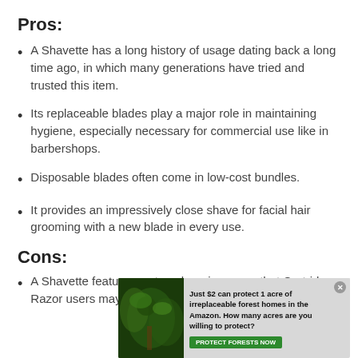Pros:
A Shavette has a long history of usage dating back a long time ago, in which many generations have tried and trusted this item.
Its replaceable blades play a major role in maintaining hygiene, especially necessary for commercial use like in barbershops.
Disposable blades often come in low-cost bundles.
It provides an impressively close shave for facial hair grooming with a new blade in every use.
Cons:
A Shavette features a steep learning curve that Cartridge Razor users may not be used to handling
[Figure (other): Advertisement overlay: rainforest/Amazon conservation ad with green button 'PROTECT FORESTS NOW' and text 'Just $2 can protect 1 acre of irreplaceable forest homes in the Amazon. How many acres are you willing to protect?']